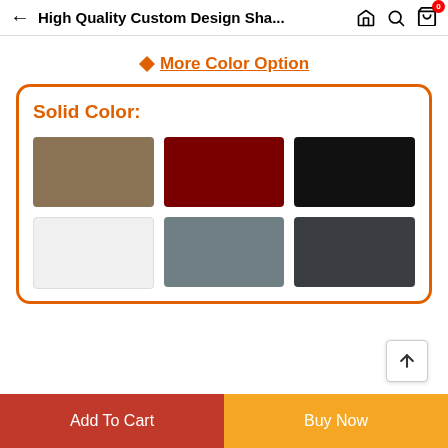High Quality Custom Design Sha...
▶ More Color Option
Solid Color:
[Figure (other): Six solid color swatches in a 3x2 grid: tan/brown, dark red/maroon, black, white/light gray, medium gray, dark charcoal gray]
Add To Cart
Buy Now